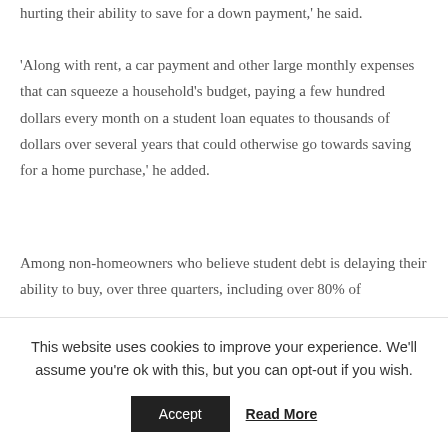hurting their ability to save for a down payment,' he said.
'Along with rent, a car payment and other large monthly expenses that can squeeze a household's budget, paying a few hundred dollars every month on a student loan equates to thousands of dollars over several years that could otherwise go towards saving for a home purchase,' he added.
Among non-homeowners who believe student debt is delaying their ability to buy, over three quarters, including over 80% of millennials, said their delay is because they can't save for a down payment. Additionally, 69% don't feel financially secure enough to buy, and 60% can't qualify for a mortgage because of high debt to...
This website uses cookies to improve your experience. We'll assume you're ok with this, but you can opt-out if you wish.
Accept
Read More